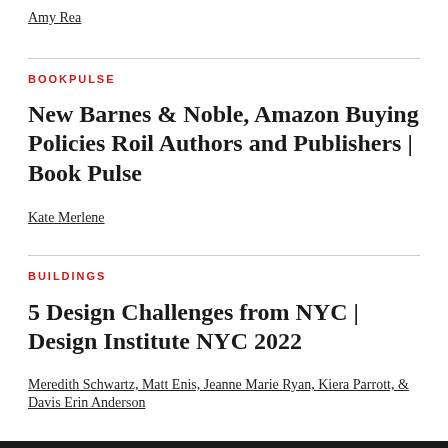Amy Rea
BOOKPULSE
New Barnes & Noble, Amazon Buying Policies Roil Authors and Publishers | Book Pulse
Kate Merlene
BUILDINGS
5 Design Challenges from NYC | Design Institute NYC 2022
Meredith Schwartz, Matt Enis, Jeanne Marie Ryan, Kiera Parrott, & Davis Erin Anderson